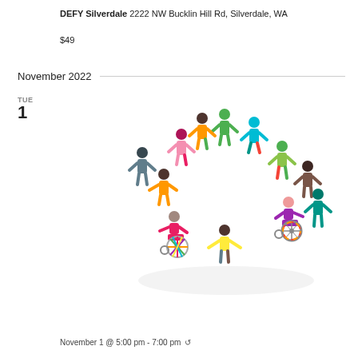DEFY Silverdale 2222 NW Bucklin Hill Rd, Silverdale, WA
$49
November 2022
TUE
1
[Figure (illustration): Colorful paper cut-out figures of people, including two in wheelchairs, holding hands in a circle on a white background.]
November 1 @ 5:00 pm - 7:00 pm ↺